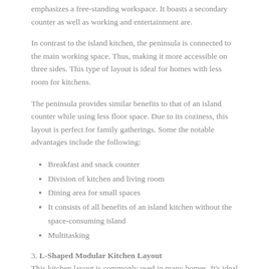emphasizes a free-standing workspace. It boasts a secondary counter as well as working and entertainment are.
In contrast to the island kitchen, the peninsula is connected to the main working space. Thus, making it more accessible on three sides. This type of layout is ideal for homes with less room for kitchens.
The peninsula provides similar benefits to that of an island counter while using less floor space. Due to its coziness, this layout is perfect for family gatherings. Some the notable advantages include the following:
Breakfast and snack counter
Division of kitchen and living room
Dining area for small spaces
It consists of all benefits of an island kitchen without the space-consuming island
Multitasking
3. L-Shaped Modular Kitchen Layout
This kitchen layout is commonly used in many homes. It's ideal